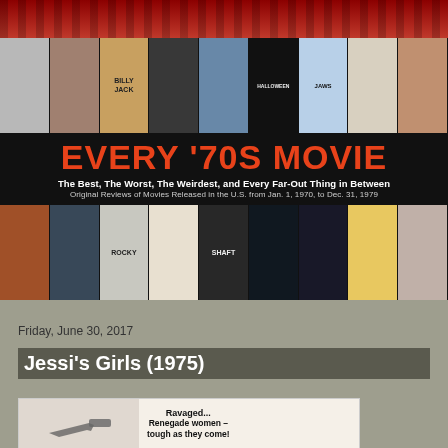[Figure (screenshot): Website banner for 'Every 70s Movie' blog with red curtain, two rows of movie poster thumbnails, large site title in red/orange on black background, and subtitle text]
Friday, June 30, 2017
Jessi's Girls (1975)
[Figure (photo): Movie poster for Jessi's Girls (1975) showing text 'Ravaged...' on left and 'Renegade women – tough as they come!' on right, with partial image of figures]